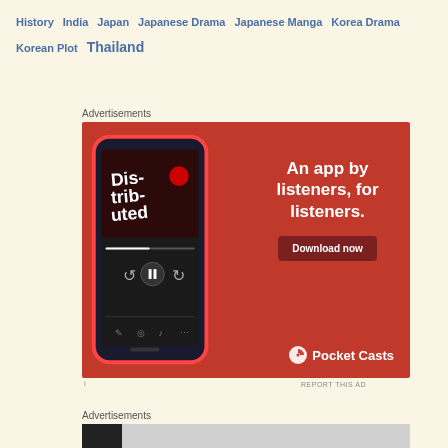History India Japan Japanese Drama Japanese Manga Korea Drama Korean Plot Thailand
Advertisements
[Figure (photo): Pocket Casts app advertisement on red background. Shows a smartphone with 'Distributed' podcast app screen. Text reads: 'An app by listeners, for listeners.' with a 'Download now' button and Pocket Casts logo at bottom right.]
REPORT THIS AD
Advertisements